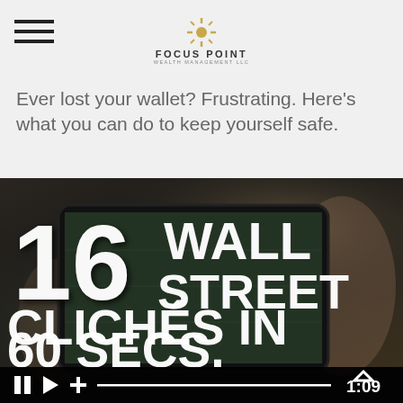FOCUS POINT
Ever lost your wallet? Frustrating. Here’s what you can do to keep yourself safe.
[Figure (screenshot): Video thumbnail showing a person holding a tablet displaying text '16 WALL STREET CLICHÉS IN 60 SECS.' with video player controls showing time 1:09]